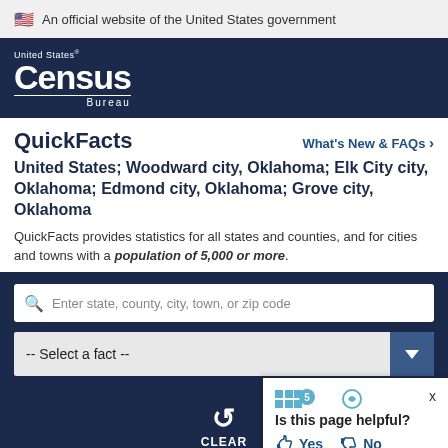An official website of the United States government
[Figure (logo): United States Census Bureau logo - white text on dark navy background]
QuickFacts
United States; Woodward city, Oklahoma; Elk City city, Oklahoma; Edmond city, Oklahoma; Grove city, Oklahoma
QuickFacts provides statistics for all states and counties, and for cities and towns with a population of 5,000 or more.
Enter state, county, city, town, or zip code
-- Select a fact --
CLEAR
Is this page helpful? Yes No